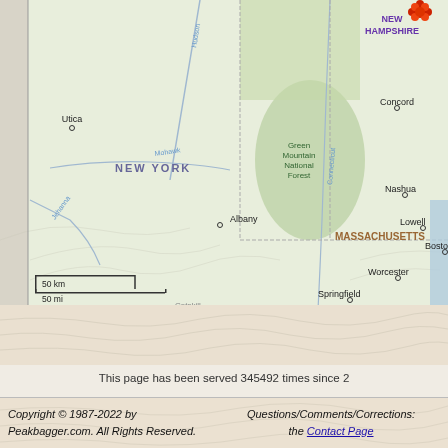[Figure (map): Geographic map showing northeastern United States including New York, Massachusetts, New Hampshire, Vermont. Shows cities including Utica, Albany, Concord, Nashua, Lowell, Boston, Worcester, Springfield. Shows Green Mountain National Forest, rivers (Hudson, Mohawk, Susquehanna, Connecticut), and has a scale bar showing 50 km / 50 mi. A red/orange icon marker appears near NEW HAMPSHIRE label.]
(Map only shows peaks ranked by clean
Click Here for a Full Screen M
This page has been served 345492 times since 2
Copyright © 1987-2022 by Peakbagger.com. All Rights Reserved.
Questions/Comments/Corrections: the Contact Page